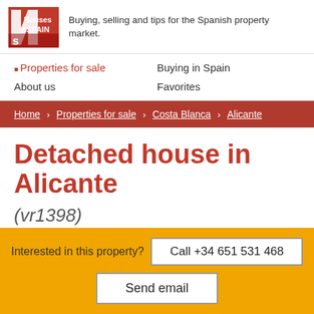[Figure (logo): Houses in SPAIN logo - red and white square logo with house graphic]
Buying, selling and tips for the Spanish property market.
Properties for sale
Buying in Spain
About us
Favorites
Home > Properties for sale > Costa Blanca > Alicante
Detached house in Alicante
(vr1398)
€ 210.000
Interested in this property?
Call +34 651 531 468
Send email